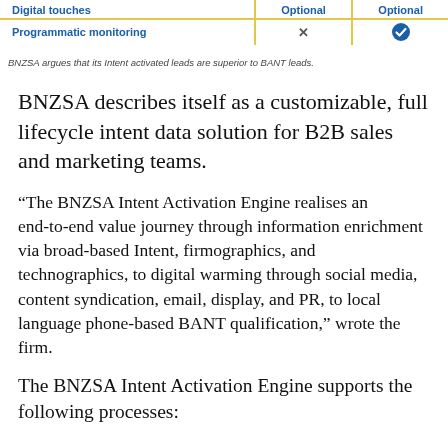|  | Optional | Optional |
| --- | --- | --- |
| Digital touches | Optional | Optional |
| Programmatic monitoring | ✗ | ✓ |
BNZSA argues that its Intent activated leads are superior to BANT leads.
BNZSA describes itself as a customizable, full lifecycle intent data solution for B2B sales and marketing teams.
“The BNZSA Intent Activation Engine realises an end-to-end value journey through information enrichment via broad-based Intent, firmographics, and technographics, to digital warming through social media, content syndication, email, display, and PR, to local language phone-based BANT qualification,” wrote the firm.
The BNZSA Intent Activation Engine supports the following processes: